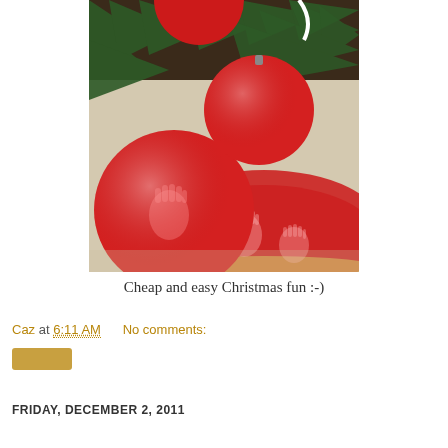[Figure (photo): Photo of red balloons/ornaments near a Christmas tree on a red tree skirt with white handprints, placed on a beige carpet. Green pine branches visible at top.]
Cheap and easy Christmas fun :-)
Caz at 6:11 AM    No comments:
[Figure (other): Small golden/tan colored button or badge element]
FRIDAY, DECEMBER 2, 2011